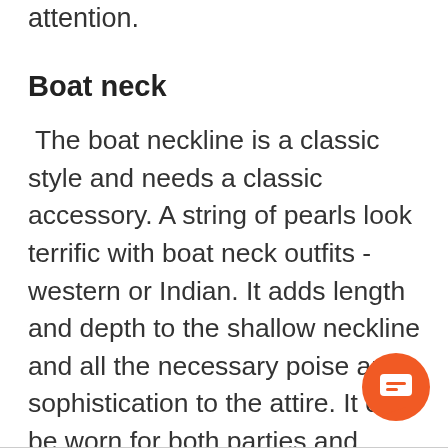attention.
Boat neck
The boat neckline is a classic style and needs a classic accessory. A string of pearls look terrific with boat neck outfits - western or Indian. It adds length and depth to the shallow neckline and all the necessary poise and sophistication to the attire. It can be worn for both parties and work. For a more charismatic look, you can also go for a pair of oversized studs with intricate designs and a diamond brac for a glamorous look.